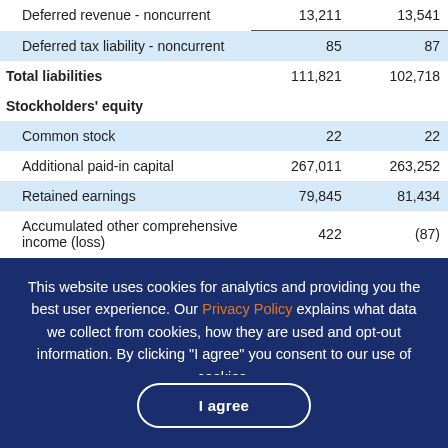|  |  |  |
| --- | --- | --- |
| Deferred revenue - noncurrent | 13,211 | 13,541 |
| Deferred tax liability - noncurrent | 85 | 87 |
| Total liabilities | 111,821 | 102,718 |
| Stockholders' equity |  |  |
| Common stock | 22 | 22 |
| Additional paid-in capital | 267,011 | 263,252 |
| Retained earnings | 79,845 | 81,434 |
| Accumulated other comprehensive income (loss) | 422 | (87) |
This website uses cookies for analytics and providing you the best user experience. Our Privacy Policy explains what data we collect from cookies, how they are used and opt-out information. By clicking "I agree" you consent to our use of cookies.